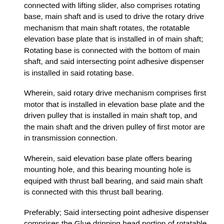connected with lifting slider, also comprises rotating base, main shaft and is used to drive the rotary drive mechanism that main shaft rotates, the rotatable elevation base plate that is installed in of main shaft; Rotating base is connected with the bottom of main shaft, and said intersecting point adhesive dispenser is installed in said rotating base.
Wherein, said rotary drive mechanism comprises first motor that is installed in elevation base plate and the driven pulley that is installed in main shaft top, and the main shaft and the driven pulley of first motor are in transmission connection.
Wherein, said elevation base plate offers bearing mounting hole, and this bearing mounting hole is equiped with thrust ball bearing, and said main shaft is connected with this thrust ball bearing.
Preferably; Said intersecting point adhesive dispenser comprises the Glue dripping head portion of rotatable angle and is installed in the link of rotating base; This Glue dripping head portion comprises the glue-spreading head of sending glue valve body, bulb hinged block and being